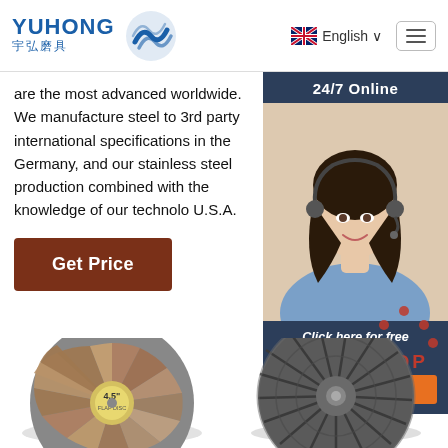[Figure (logo): Yuhong 宇弘磨具 logo with blue wave icon]
English ∨
are the most advanced worldwide. We manufacture steel to 3rd party international specifications in the Germany, and our stainless steel production combined with the knowledge of our technology U.S.A.
[Figure (infographic): 24/7 Online chat widget with customer service representative photo, 'Click here for free chat!' text, and QUOTATION button]
Get Price
[Figure (illustration): TOP back-to-top button icon with orange dots arranged in arc pattern]
[Figure (photo): 4.5 inch flap disc abrasive product (left)]
[Figure (photo): Circular abrasive grinding disc (right)]